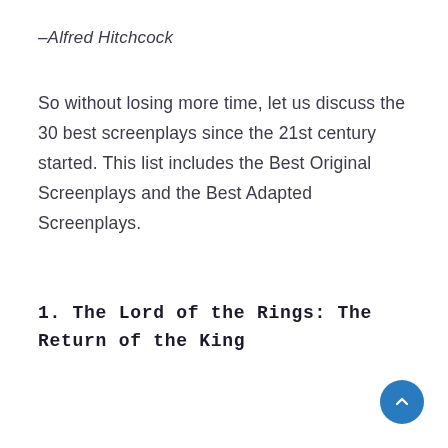–Alfred Hitchcock
So without losing more time, let us discuss the 30 best screenplays since the 21st century started. This list includes the Best Original Screenplays and the Best Adapted Screenplays.
1. The Lord of the Rings: The Return of the King